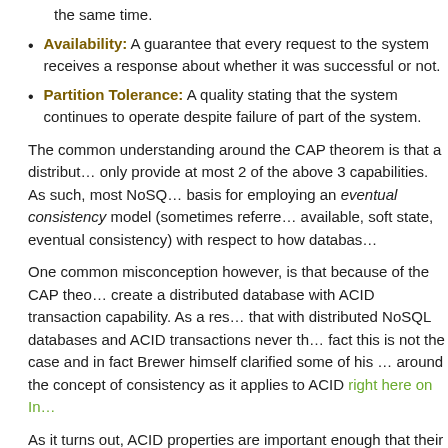Availability: A guarantee that every request to the system receives a response about whether it was successful or not.
Partition Tolerance: A quality stating that the system continues to operate despite failure of part of the system.
The common understanding around the CAP theorem is that a distributed system can only provide at most 2 of the above 3 capabilities. As such, most NoSQL databases use this as basis for employing an eventual consistency model (sometimes referred to as basically available, soft state, eventual consistency) with respect to how databases synchronize.
One common misconception however, is that because of the CAP theorem, you cannot create a distributed database with ACID transaction capability. As a result, many believe that with distributed NoSQL databases and ACID transactions never the twain shall meet. In fact this is not the case and in fact Brewer himself clarified some of his original statements around the concept of consistency as it applies to ACID right here on InfoQ.
As it turns out, ACID properties are important enough that their applicability is being addressed or is being addressed by the marketplace with respect to new emerging databases. In fact, no less an authority on distributed web-scale data storage than Google, with its Big Table whitepaper and implementation, has been in the process of both documenting and implementing distributed DB transactional capability by way of its Spanner database.